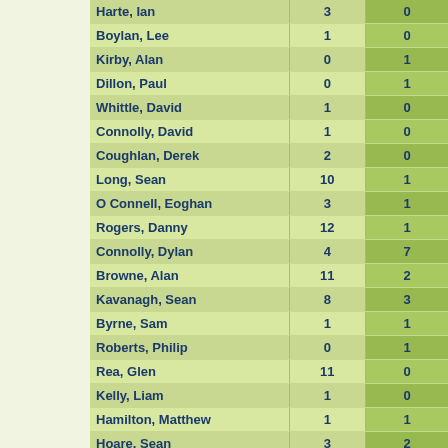| Name | Col2 | Col3 |
| --- | --- | --- |
| Harte, Ian | 3 | 0 |
| Boylan, Lee | 1 | 0 |
| Kirby, Alan | 0 | 1 |
| Dillon, Paul | 0 | 1 |
| Whittle, David | 1 | 0 |
| Connolly, David | 1 | 0 |
| Coughlan, Derek | 2 | 0 |
| Long, Sean | 10 | 1 |
| O Connell, Eoghan | 3 | 1 |
| Rogers, Danny | 12 | 1 |
| Connolly, Dylan | 4 | 7 |
| Browne, Alan | 11 | 2 |
| Kavanagh, Sean | 8 | 3 |
| Byrne, Sam | 1 | 1 |
| Roberts, Philip | 0 | 1 |
| Rea, Glen | 11 | 0 |
| Kelly, Liam | 1 | 0 |
| Hamilton, Matthew | 1 | 1 |
| Hoare, Sean | 3 | 2 |
| Desmond, Lee | 3 | 0 |
| Grimes, Eric | 2 | 2 |
| Goodwin, Shamir | 1 | 1 |
| O Dowda, Callum | 11 | 0 |
| ... | 2 | 10 |